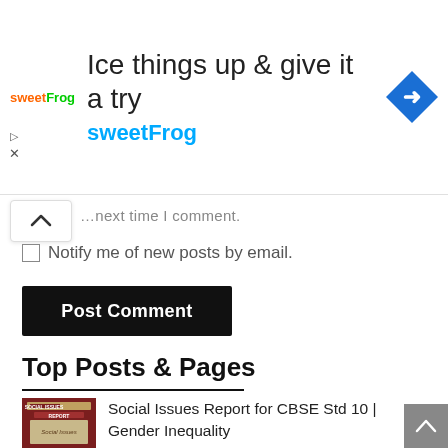[Figure (other): Advertisement banner for sweetFrog frozen yogurt with logo, headline 'Ice things up & give it a try', subtext 'sweetFrog', and a blue navigation arrow icon]
…next time I comment.
Notify me of new posts by email.
Post Comment
Top Posts & Pages
Social Issues Report for CBSE Std 10 | Gender Inequality